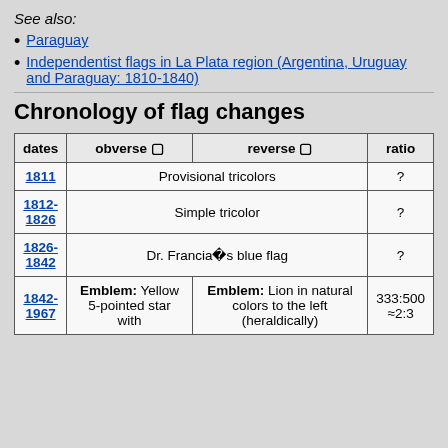See also:
Paraguay
Independentist flags in La Plata region (Argentina, Uruguay and Paraguay: 1810-1840)
Chronology of flag changes
| dates | obverse □ | reverse □ | ratio |
| --- | --- | --- | --- |
| 1811 | Provisional tricolors |  | ? |
| 1812-1826 | Simple tricolor |  | ? |
| 1826-1842 | Dr. Francia's blue flag |  | ? |
| 1842-1967 | Emblem: Yellow 5-pointed star with… | Emblem: Lion in natural colors to the left (heraldically)… | 333:500 ≈2:3 |